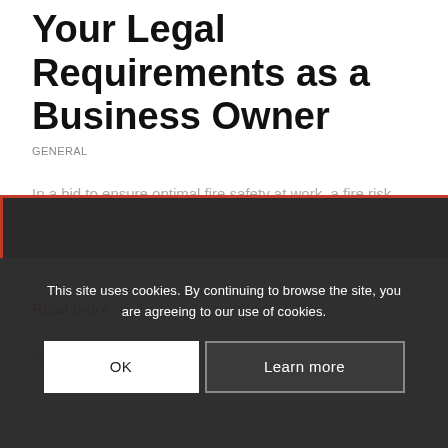Your Legal Requirements as a Business Owner
GENERAL
In a bid to ensure optimal fire safety at work, a fire risk assessment must be carried out for every organisation.
Read more >
May 25, 2022
This site uses cookies. By continuing to browse the site, you are agreeing to our use of cookies.
OK
Learn more